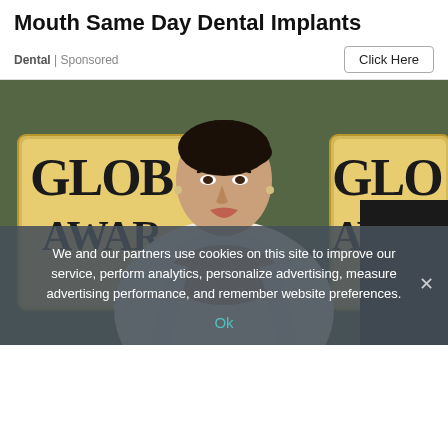Mouth Same Day Dental Implants
Dental | Sponsored
[Figure (photo): Woman in white dress at Golden Globe Awards red carpet event, with Golden Globe Awards signs visible in the background]
We and our partners use cookies on this site to improve our service, perform analytics, personalize advertising, measure advertising performance, and remember website preferences.
Ok